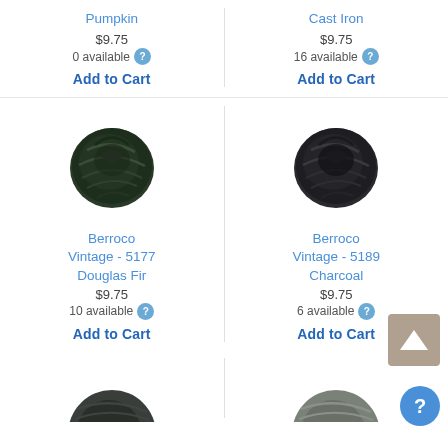Pumpkin
Cast Iron
$9.75
0 available
$9.75
16 available
Add to Cart
Add to Cart
[Figure (photo): Skein of dark green yarn - Berroco Vintage 5177 Douglas Fir]
[Figure (photo): Skein of dark charcoal/black yarn - Berroco Vintage 5189 Charcoal]
Berroco Vintage - 5177 Douglas Fir
Berroco Vintage - 5189 Charcoal
$9.75
10 available
$9.75
6 available
Add to Cart
Add to Cart
[Figure (photo): Partial view of dark gray yarn skein at bottom left]
[Figure (photo): Partial view of gray yarn skein at bottom right]